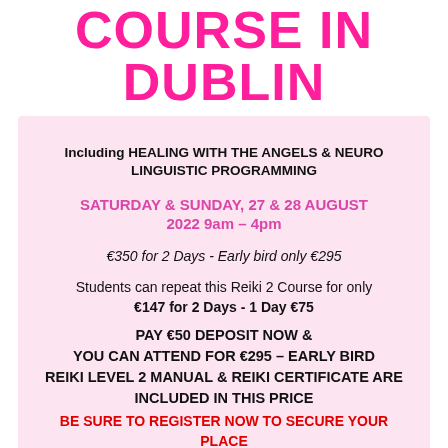COURSE IN DUBLIN
Including HEALING WITH THE ANGELS & NEURO LINGUISTIC PROGRAMMING
SATURDAY & SUNDAY, 27 & 28 AUGUST 2022 9am – 4pm
€350 for 2 Days - Early bird only €295
Students can repeat this Reiki 2 Course for only €147 for 2 Days - 1 Day €75
PAY €50 DEPOSIT NOW & YOU CAN ATTEND FOR €295 – EARLY BIRD REIKI LEVEL 2 MANUAL & REIKI CERTIFICATE ARE INCLUDED IN THIS PRICE
BE SURE TO REGISTER NOW TO SECURE YOUR PLACE